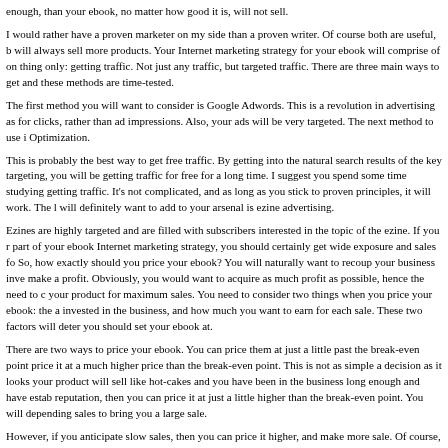enough, than your ebook, no matter how good it is, will not sell.
I would rather have a proven marketer on my side than a proven writer. Of course both are useful, b will always sell more products. Your Internet marketing strategy for your ebook will comprise of on thing only: getting traffic. Not just any traffic, but targeted traffic. There are three main ways to get and these methods are time-tested.
The first method you will want to consider is Google Adwords. This is a revolution in advertising as for clicks, rather than ad impressions. Also, your ads will be very targeted. The next method to use i Optimization.
This is probably the best way to get free traffic. By getting into the natural search results of the key targeting, you will be getting traffic for free for a long time. I suggest you spend some time studying getting traffic. It's not complicated, and as long as you stick to proven principles, it will work. The l will definitely want to add to your arsenal is ezine advertising.
Ezines are highly targeted and are filled with subscribers interested in the topic of the ezine. If you r part of your ebook Internet marketing strategy, you should certainly get wide exposure and sales fo So, how exactly should you price your ebook? You will naturally want to recoup your business inve make a profit. Obviously, you would want to acquire as much profit as possible, hence the need to c your product for maximum sales. You need to consider two things when you price your ebook: the a invested in the business, and how much you want to earn for each sale. These two factors will deter you should set your ebook at.
There are two ways to price your ebook. You can price them at just a little past the break-even point price it at a much higher price than the break-even point. This is not as simple a decision as it looks your product will sell like hot-cakes and you have been in the business long enough and have estab reputation, then you can price it at just a little higher than the break-even point. You will depending sales to bring you a large sale.
However, if you anticipate slow sales, then you can price it higher, and make more sale. Of course, it should be the other way around, but this is the strategy that has been proven to produce the highes you price your product and put it out for sale, you can see how much the market values it.
Keep in mind that every product is different, and will have different pricing strategies. Combine all above, and you will have a full blown ebook Internet marketing campaign.
Fabian Tan is the author of the free 51-Page Report: "Murder Your Job: How To Build Cash Suckin